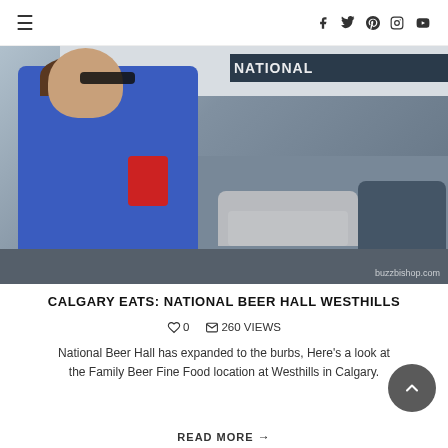≡  [social icons: facebook, twitter, pinterest, instagram, youtube]
[Figure (photo): A young boy wearing sunglasses and a blue hoodie standing in a parking lot in front of a building with 'NATIONAL' signage. Watermark: buzzbishop.com]
CALGARY EATS: NATIONAL BEER HALL WESTHILLS
♡ 0   ✉ 260 VIEWS
National Beer Hall has expanded to the burbs, Here's a look at the Family Beer Fine Food location at Westhills in Calgary.
READ MORE →